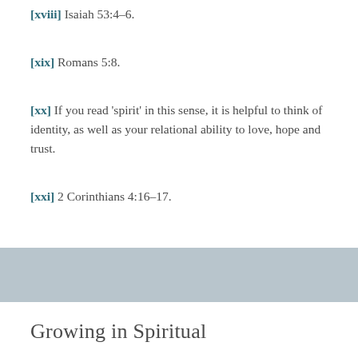[xviii] Isaiah 53:4–6.
[xix] Romans 5:8.
[xx] If you read 'spirit' in this sense, it is helpful to think of identity, as well as your relational ability to love, hope and trust.
[xxi] 2 Corinthians 4:16–17.
Growing in Spiritual